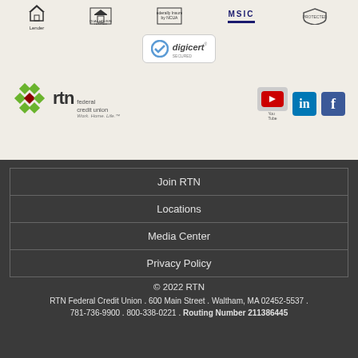[Figure (logo): Row of compliance logos: Equal Housing Lender, Equal Housing Lender (text), Federally Insured by NCUA, MSIC, PROTECTED]
[Figure (logo): DigiCert Secured badge]
[Figure (logo): RTN Federal Credit Union logo with diamond graphic and tagline Work. Home. Life.]
[Figure (logo): Social media icons: YouTube, LinkedIn, Facebook]
Join RTN
Locations
Media Center
Privacy Policy
© 2022 RTN
RTN Federal Credit Union . 600 Main Street . Waltham, MA 02452-5537 . 781-736-9900 . 800-338-0221 . Routing Number 211386445